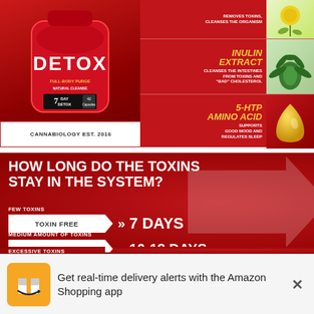[Figure (infographic): Red supplement bottle labeled DETOX 7 DAY DETOX 42 Capsules by Cannabiology EST. 2016 with FULL-BODY PURGE and NATURAL CLEANSE text, alongside ingredient highlights: Inulin Extract (cleanses intestines from toxins and bad cholesterol), 5-HTP Amino Acid (supports good mood and regulates sleep)]
[Figure (infographic): Red background infographic asking HOW LONG DO THE TOXINS STAY IN THE SYSTEM? with two rows: FEW TOXINS - TOXIN FREE >> 7 DAYS; MEDIUM AMOUNT OF TOXINS - TOXIN FREE >> 10-18 DAYS; EXCESSIVE TOXINS (cut off)]
[Figure (infographic): Amazon app notification popup: Get real-time delivery alerts with the Amazon Shopping app, with Amazon icon and X close button]
[Figure (infographic): Bottom red strip partially visible with WITH text and double arrows]